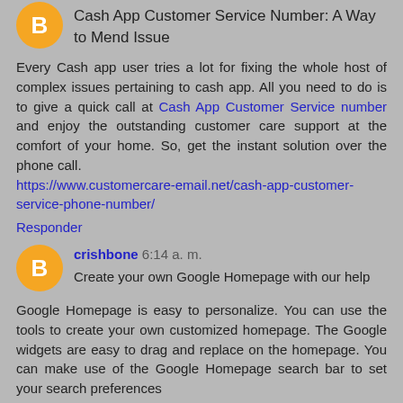Cash App Customer Service Number: A Way to Mend Issue
Every Cash app user tries a lot for fixing the whole host of complex issues pertaining to cash app. All you need to do is to give a quick call at Cash App Customer Service number and enjoy the outstanding customer care support at the comfort of your home. So, get the instant solution over the phone call. https://www.customercare-email.net/cash-app-customer-service-phone-number/
Responder
crishbone 6:14 a. m.
Create your own Google Homepage with our help
Google Homepage is easy to personalize. You can use the tools to create your own customized homepage. The Google widgets are easy to drag and replace on the homepage. You can make use of the Google Homepage search bar to set your search preferences